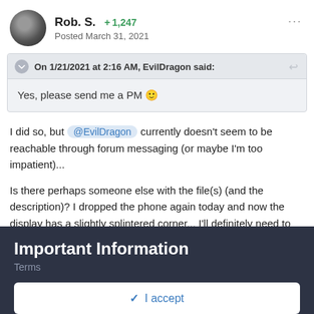Rob. S.  +1,247  Posted March 31, 2021
On 1/21/2021 at 2:16 AM, EvilDragon said:
Yes, please send me a PM 🙂
I did so, but @EvilDragon currently doesn't seem to be reachable through forum messaging (or maybe I'm too impatient)...
Is there perhaps someone else with the file(s) (and the description)? I dropped the phone again today and now the display has a slightly splintered corner... I'll definitely need to get some protection for the phone, going forward... And I wouldn't want to replace the screen before making sure I can still use all of my apps...
Important Information
Terms
✓  I accept